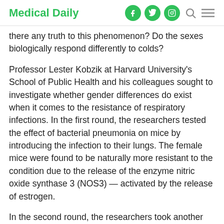Medical Daily
there any truth to this phenomenon? Do the sexes biologically respond differently to colds?
Professor Lester Kobzik at Harvard University's School of Public Health and his colleagues sought to investigate whether gender differences do exist when it comes to the resistance of respiratory infections. In the first round, the researchers tested the effect of bacterial pneumonia on mice by introducing the infection to their lungs. The female mice were found to be naturally more resistant to the condition due to the release of the enzyme nitric oxide synthase 3 (NOS3) — activated by the release of estrogen.
In the second round, the researchers took another set of male and female mice and removed the gene responsible for the production of NOS3. The researchers found